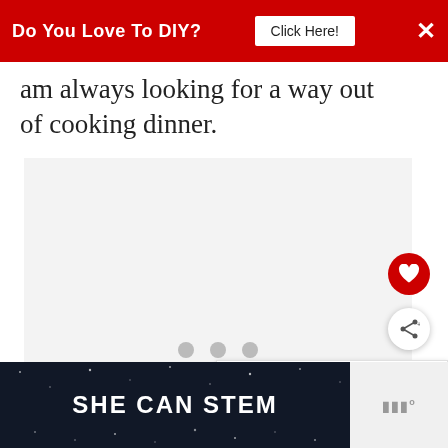[Figure (screenshot): Red banner advertisement: 'Do You Love To DIY? Click Here!' with X close button]
am always looking for a way out of cooking dinner.
[Figure (other): Advertisement placeholder area with three gray dots in the center]
[Figure (other): WHAT'S NEXT panel with thumbnail image and title 'Ironing Made Easy']
[Figure (other): Bottom advertisement banner with dark background showing 'SHE CAN STEM' text, and muted video icon on the right]